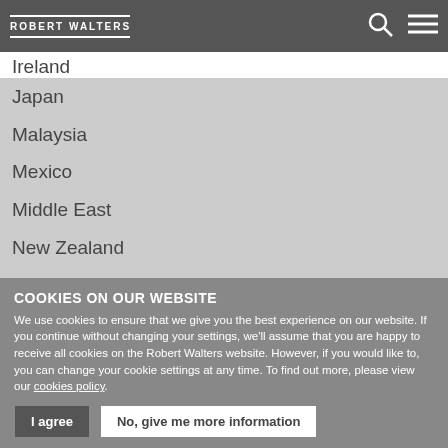ROBERT WALTERS
Ireland
Japan
Malaysia
Mexico
Middle East
New Zealand
Philippines
Portugal
Singapore
South Africa
South Korea
COOKIES ON OUR WEBSITE
We use cookies to ensure that we give you the best experience on our website. If you continue without changing your settings, we'll assume that you are happy to receive all cookies on the Robert Walters website. However, if you would like to, you can change your cookie settings at any time. To find out more, please view our cookies policy.